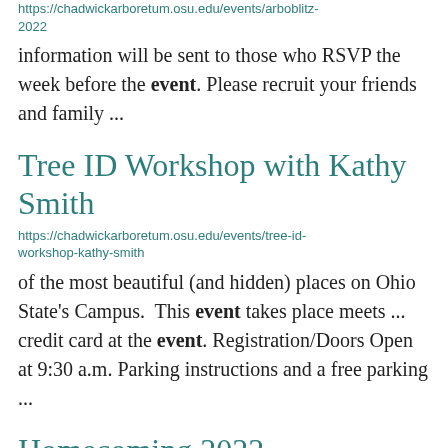https://chadwickarboretum.osu.edu/events/arboblitz-2022
information will be sent to those who RSVP the week before the event. Please recruit your friends and family ...
Tree ID Workshop with Kathy Smith
https://chadwickarboretum.osu.edu/events/tree-id-workshop-kathy-smith
of the most beautiful (and hidden) places on Ohio State's Campus.  This event takes place meets ... credit card at the event. Registration/Doors Open at 9:30 a.m. Parking instructions and a free parking ...
Homecoming 2022